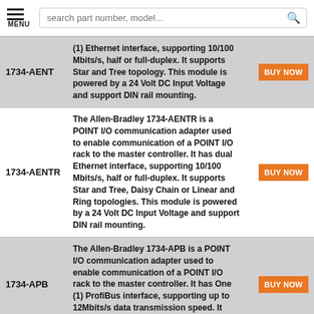MENU | search part number, model...
| Part Number | Description | Action |
| --- | --- | --- |
| 1734-AENT | (1) Ethernet interface, supporting 10/100 Mbits/s, half or full-duplex. It supports Star and Tree topology. This module is powered by a 24 Volt DC Input Voltage and support DIN rail mounting. | BUY NOW |
| 1734-AENTR | The Allen-Bradley 1734-AENTR is a POINT I/O communication adapter used to enable communication of a POINT I/O rack to the master controller. It has dual Ethernet interface, supporting 10/100 Mbits/s, half or full-duplex. It supports Star and Tree, Daisy Chain or Linear and Ring topologies. This module is powered by a 24 Volt DC Input Voltage and support DIN rail mounting. | BUY NOW |
| 1734-APB | The Allen-Bradley 1734-APB is a POINT I/O communication adapter used to enable communication of a POINT I/O rack to the master controller. It has One (1) ProfiBus interface, supporting up to 12Mbits/s data transmission speed. It supports Daisy-chain topology and | BUY NOW |